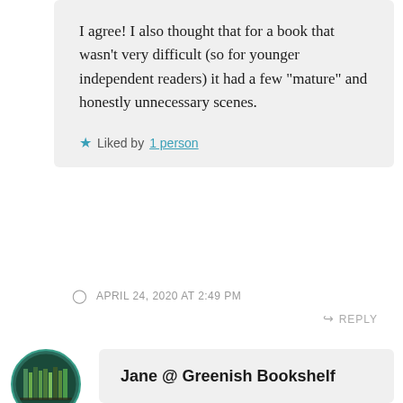I agree! I also thought that for a book that wasn’t very difficult (so for younger independent readers) it had a few “mature” and honestly unnecessary scenes.
Liked by 1 person
APRIL 24, 2020 AT 2:49 PM
REPLY
Jane @ Greenish Bookshelf